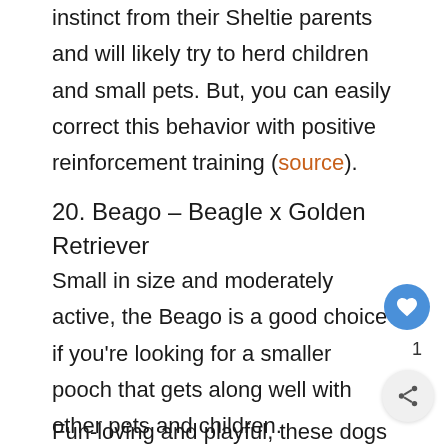instinct from their Sheltie parents and will likely try to herd children and small pets. But, you can easily correct this behavior with positive reinforcement training (source).
20. Beago – Beagle x Golden Retriever
Small in size and moderately active, the Beago is a good choice if you're looking for a smaller pooch that gets along well with other pets and children.
Fun-loving and playful, these dogs make